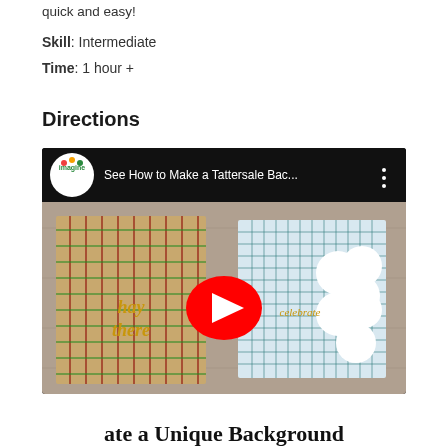quick and easy!
Skill: Intermediate
Time: 1 hour +
Directions
[Figure (screenshot): YouTube video thumbnail showing 'See How to Make a Tattersale Bac...' with two handcrafted cards with plaid/tattersall backgrounds, one with 'hay there' text and one with 'celebrate' text. A YouTube play button is visible in the center.]
ate a Unique Background